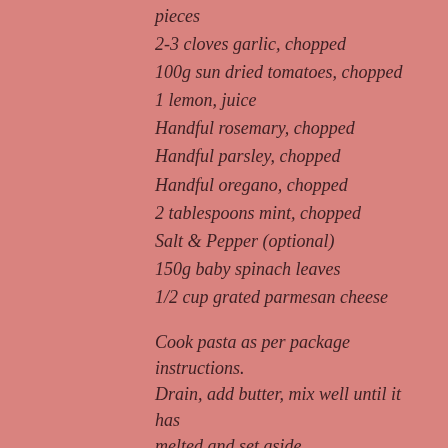pieces
2-3 cloves garlic, chopped
100g sun dried tomatoes, chopped
1 lemon, juice
Handful rosemary, chopped
Handful parsley, chopped
Handful oregano, chopped
2 tablespoons mint, chopped
Salt & Pepper (optional)
150g baby spinach leaves
1/2 cup grated parmesan cheese
Cook pasta as per package instructions. Drain, add butter, mix well until it has melted and set aside.
Heat one tablespoon of olive oil and fry the lamb until just browned. Remove.